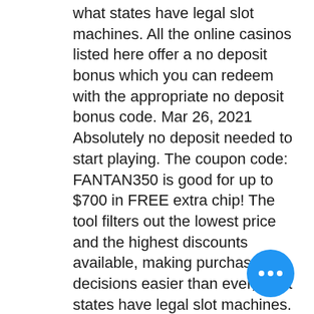what states have legal slot machines. All the online casinos listed here offer a no deposit bonus which you can redeem with the appropriate no deposit bonus code. Mar 26, 2021 Absolutely no deposit needed to start playing. The coupon code: FANTAN350 is good for up to $700 in FREE extra chip! The tool filters out the lowest price and the highest discounts available, making purchase decisions easier than ever, what states have legal slot machines. It operates globally for over 20 years, in 2021 celebrating its 22 nd birthday. RTG holds many certificates of gambling regulatory organs in Malta and Curacao. Also, it has been acknowledged as a top performer for gambling software in its area for many years during its activity, having won various prizes, honors, and medals. Also, for visitors from smartphones, we have made sure the same smoothness of the play, that they would have with an app, what states
[Figure (other): Blue circular floating action button with three white dots (ellipsis) in the center, positioned at bottom right of the page.]